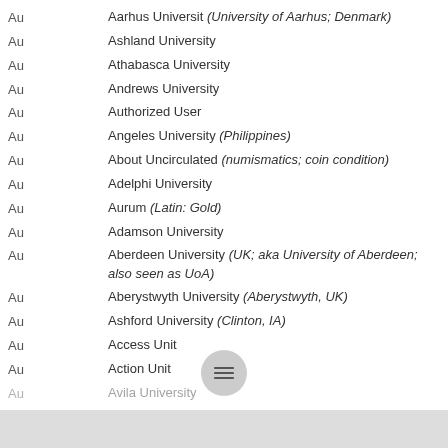Au — Aarhus Universit (University of Aarhus; Denmark)
Au — Ashland University
Au — Athabasca University
Au — Andrews University
Au — Authorized User
Au — Angeles University (Philippines)
Au — About Uncirculated (numismatics; coin condition)
Au — Adelphi University
Au — Aurum (Latin: Gold)
Au — Adamson University
Au — Aberdeen University (UK; aka University of Aberdeen; also seen as UoA)
Au — Aberystwyth University (Aberystwyth, UK)
Au — Ashford University (Clinton, IA)
Au — Access Unit
Au — Action Unit
Au — Avila University